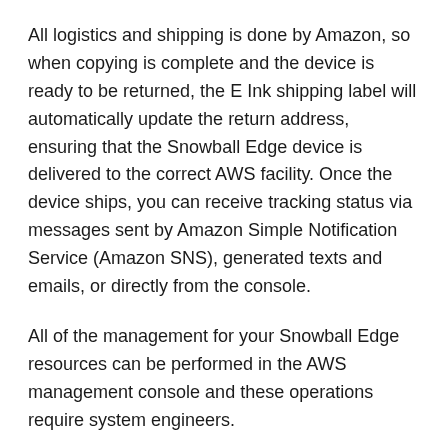All logistics and shipping is done by Amazon, so when copying is complete and the device is ready to be returned, the E Ink shipping label will automatically update the return address, ensuring that the Snowball Edge device is delivered to the correct AWS facility. Once the device ships, you can receive tracking status via messages sent by Amazon Simple Notification Service (Amazon SNS), generated texts and emails, or directly from the console.
All of the management for your Snowball Edge resources can be performed in the AWS management console and these operations require system engineers.
Q: What is the difference between Snowball Edge and Snowball?
AWS Snowball now refers to the service overall, and Snowball Edge are the current types of devices that the